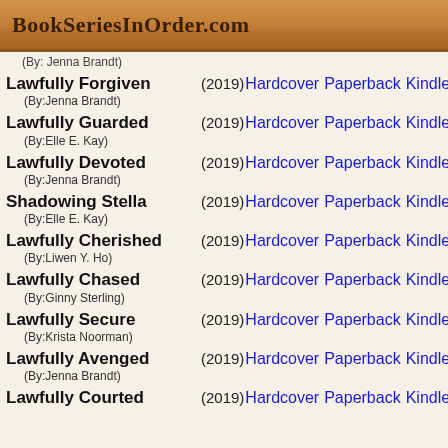BookSeriesInOrder.com
Lawfully Forgiven (By:Jenna Brandt) (2019) Hardcover Paperback Kindle
Lawfully Guarded (By:Elle E. Kay) (2019) Hardcover Paperback Kindle
Lawfully Devoted (By:Jenna Brandt) (2019) Hardcover Paperback Kindle
Shadowing Stella (By:Elle E. Kay) (2019) Hardcover Paperback Kindle
Lawfully Cherished (By:Liwen Y. Ho) (2019) Hardcover Paperback Kindle
Lawfully Chased (By:Ginny Sterling) (2019) Hardcover Paperback Kindle
Lawfully Secure (By:Krista Noorman) (2019) Hardcover Paperback Kindle
Lawfully Avenged (By:Jenna Brandt) (2019) Hardcover Paperback Kindle
Lawfully Courted (2019) Hardcover Paperback Kindle